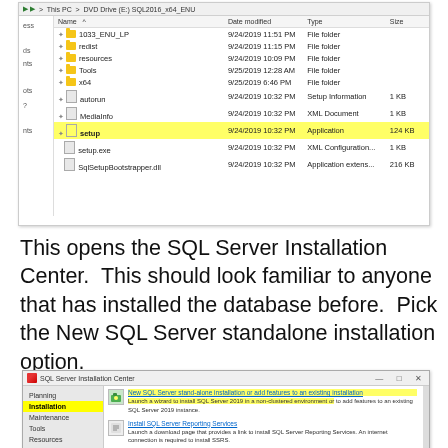[Figure (screenshot): Windows File Explorer showing DVD Drive (E:) SQL2016_x64_ENU contents with folders (1033_ENU_LP, redist, resources, Tools, x64) and files (autorun, MediaInfo, setup [highlighted in yellow], setup.exe, SqlSetupBootstrapper.dll) with dates, types, and sizes]
This opens the SQL Server Installation Center.  This should look familiar to anyone that has installed the database before.  Pick the New SQL Server standalone installation option.
[Figure (screenshot): SQL Server Installation Center dialog with Navigation panel on left (Planning, Installation [highlighted], Maintenance, Tools, Resources, Advanced, Options) and content on right showing options: New SQL Server stand-alone installation or add features to an existing installation (highlighted in yellow), Install SQL Server Reporting Services, Install SQL Server Management Tools]